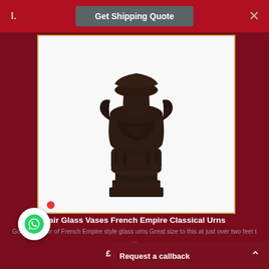1. Get Shipping Quote ×
[Figure (photo): Ornate dark bronze/cast iron decorative vase or urn with classical French Empire style detailing, shown on white background]
Pair Glass Vases French Empire Classical Urns
Gorgeous pair of French Empire style glass urns Great size to this at just over two feet t ...
£2200  ($2570)
# 1623128399
[Figure (photo): Partial image of another antique item with gold/brass colored details visible at bottom of page]
Request a callback